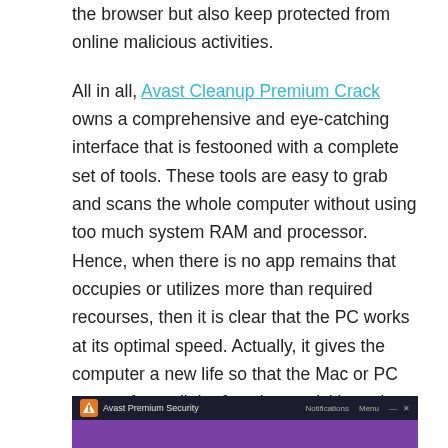the browser but also keep protected from online malicious activities.
All in all, Avast Cleanup Premium Crack owns a comprehensive and eye-catching interface that is festooned with a complete set of tools. These tools are easy to grab and scans the whole computer without using too much system RAM and processor. Hence, when there is no app remains that occupies or utilizes more than required recourses, then it is clear that the PC works at its optimal speed. Actually, it gives the computer a new life so that the Mac or PC can perform all the functions quickly and without hogging.
[Figure (screenshot): Avast Premium Security application window screenshot showing dark top bar with logo and title, and purple lower section.]